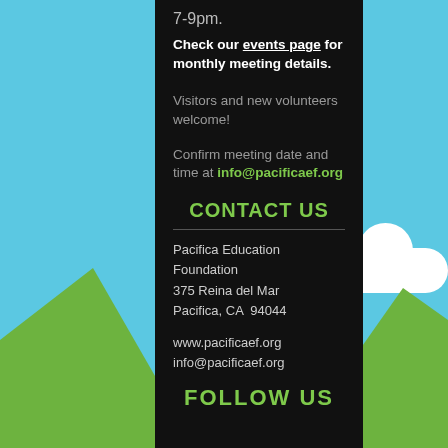7-9pm.
Check our events page for monthly meeting details.
Visitors and new volunteers welcome!
Confirm meeting date and time at info@pacificaef.org
CONTACT US
Pacifica Education Foundation
375 Reina del Mar
Pacifica, CA  94044
www.pacificaef.org
info@pacificaef.org
FOLLOW US